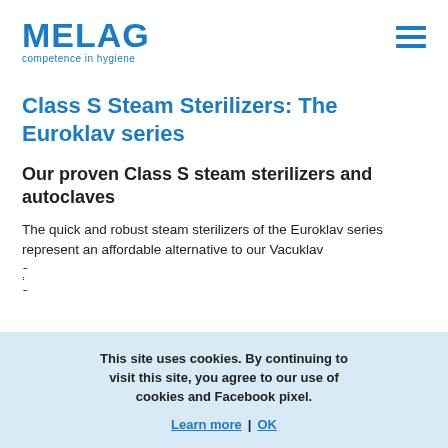MELAG competence in hygiene
Class S Steam Sterilizers: The Euroklav series
Our proven Class S steam sterilizers and autoclaves
The quick and robust steam sterilizers of the Euroklav series represent an affordable alternative to our Vacuklav s...
This site uses cookies. By continuing to visit this site, you agree to our use of cookies and Facebook pixel.
Learn more | OK